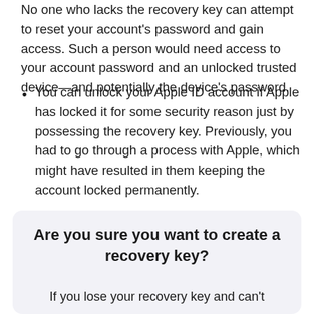No one who lacks the recovery key can attempt to reset your account's password and gain access. Such a person would need access to your account password and an unlocked trusted device—and potentially the device's password.
You can unlock your Apple ID account if Apple has locked it for some security reason just by possessing the recovery key. Previously, you had to go through a process with Apple, which might have resulted in them keeping the account locked permanently.
Are you sure you want to create a recovery key?
If you lose your recovery key and can't